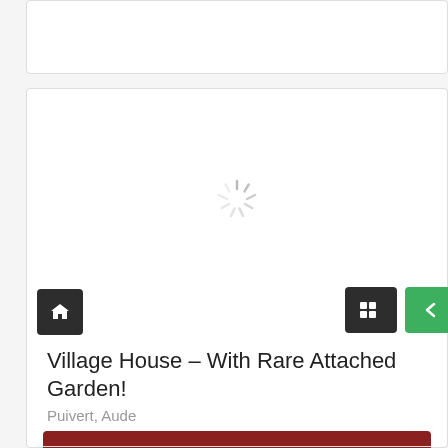[Figure (screenshot): Loading spinner (activity indicator) in the image area of a property listing card]
Village House – With Rare Attached Garden!
Puivert, Aude
€137,800
Bed: 4  Baths: 1  Type: Nos Petits Bijoux <200k